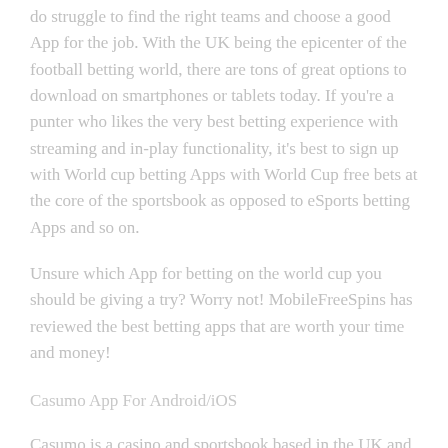do struggle to find the right teams and choose a good App for the job. With the UK being the epicenter of the football betting world, there are tons of great options to download on smartphones or tablets today. If you're a punter who likes the very best betting experience with streaming and in-play functionality, it's best to sign up with World cup betting Apps with World Cup free bets at the core of the sportsbook as opposed to eSports betting Apps and so on.
Unsure which App for betting on the world cup you should be giving a try? Worry not! MobileFreeSpins has reviewed the best betting apps that are worth your time and money!
Casumo App For Android/iOS
Casumo is a casino and sportsbook based in the UK and